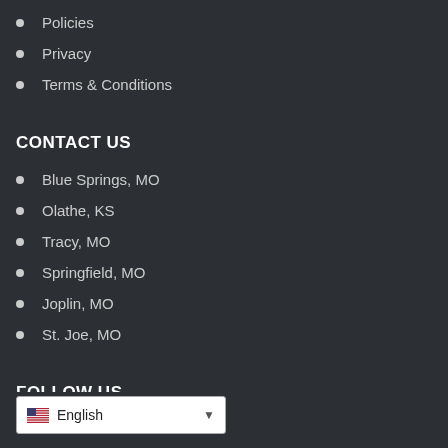Policies
Privacy
Terms & Conditions
CONTACT US
Blue Springs, MO
Olathe, KS
Tracy, MO
Springfield, MO
Joplin, MO
St. Joe, MO
FOLLOW US
[Figure (screenshot): Language selector widget showing English with US flag and dropdown arrow]